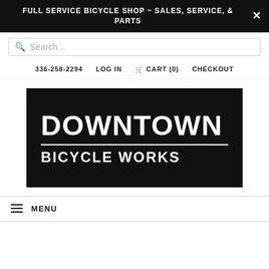FULL SERVICE BICYCLE SHOP ~ SALES, SERVICE, & PARTS
Search...
336-258-2294  LOG IN  CART (0)  CHECKOUT
[Figure (logo): Downtown Bicycle Works logo — white text on black background with 'DOWNTOWN' in large bold letters above a horizontal white rule and 'BICYCLE WORKS' in smaller bold letters below]
MENU